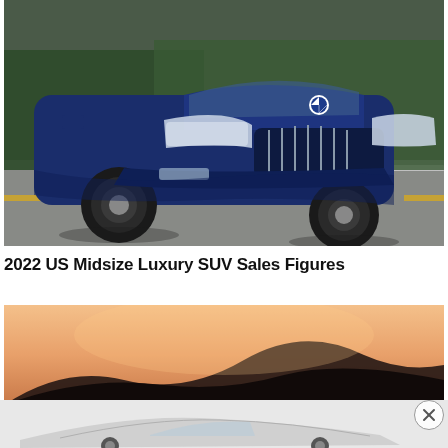[Figure (photo): Blue BMW X5 SUV driving on a road with trees in the background, front 3/4 view]
2022 US Midsize Luxury SUV Sales Figures
[Figure (photo): Sunset/dusk landscape with mountains silhouetted against an orange-pink sky]
[Figure (photo): White/silver luxury sedan car partially visible at bottom of page, advertisement overlay]